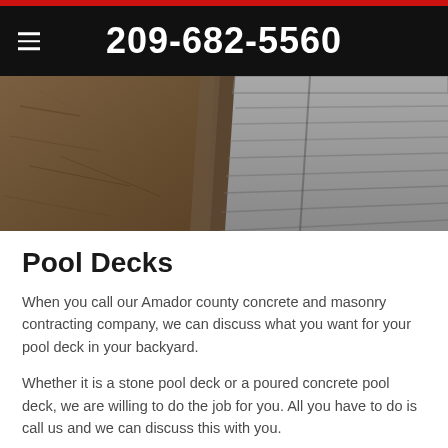209-682-5560
[Figure (photo): Close-up photo of a wooden or composite pool deck surface with dark border/edge, showing deck boards and ground texture]
Pool Decks
When you call our Amador county concrete and masonry contracting company, we can discuss what you want for your pool deck in your backyard.
Whether it is a stone pool deck or a poured concrete pool deck, we are willing to do the job for you. All you have to do is call us and we can discuss this with you.